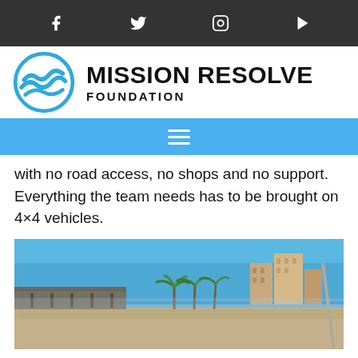Social media icons: Facebook, Twitter, Instagram, YouTube
[Figure (logo): Mission Resolve Foundation logo with blue circular wave emblem]
Navigation menu (hamburger icon)
with no road access, no shops and no support. Everything the team needs has to be brought on 4×4 vehicles.
[Figure (photo): Beach scene with blue sky, sandy shore, palm trees, buildings in background, pier structure on the left, and a leaning pole on the right]